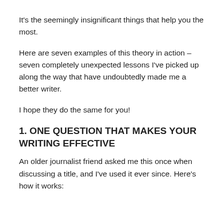It's the seemingly insignificant things that help you the most.
Here are seven examples of this theory in action – seven completely unexpected lessons I've picked up along the way that have undoubtedly made me a better writer.
I hope they do the same for you!
1. ONE QUESTION THAT MAKES YOUR WRITING EFFECTIVE
An older journalist friend asked me this once when discussing a title, and I've used it ever since. Here's how it works: